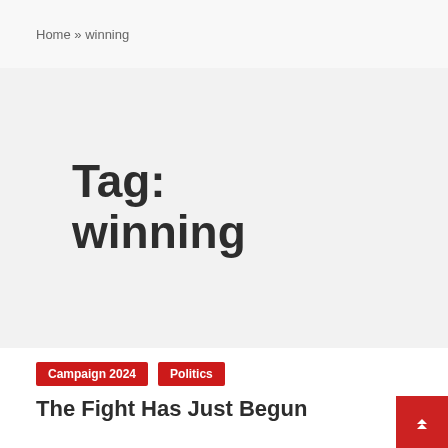Home » winning
Tag: winning
Campaign 2024  Politics
The Fight Has Just Begun